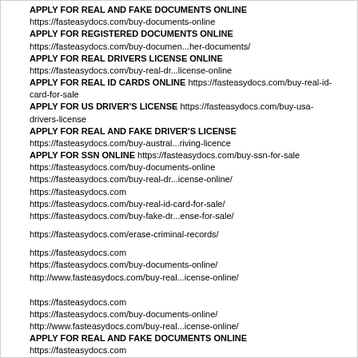APPLY FOR REAL AND FAKE DOCUMENTS ONLINE
https://fasteasydocs.com/buy-documents-online
APPLY FOR REGISTERED DOCUMENTS ONLINE
https://fasteasydocs.com/buy-documen...her-documents/
APPLY FOR REAL DRIVERS LICENSE ONLINE
https://fasteasydocs.com/buy-real-dr...license-online
APPLY FOR REAL ID CARDS ONLINE https://fasteasydocs.com/buy-real-id-card-for-sale
APPLY FOR US DRIVER'S LICENSE https://fasteasydocs.com/buy-usa-drivers-license
APPLY FOR REAL AND FAKE DRIVER'S LICENSE
https://fasteasydocs.com/buy-austral...riving-licence
APPLY FOR SSN ONLINE https://fasteasydocs.com/buy-ssn-for-sale
https://fasteasydocs.com/buy-documents-online
https://fasteasydocs.com/buy-real-dr...icense-online/
https://fasteasydocs.com
https://fasteasydocs.com/buy-real-id-card-for-sale/
https://fasteasydocs.com/buy-fake-dr...ense-for-sale/

https://fasteasydocs.com/erase-criminal-records/

https://fasteasydocs.com
https://fasteasydocs.com/buy-documents-online/
http://www.fasteasydocs.com/buy-real...icense-online/


https://fasteasydocs.com
https://fasteasydocs.com/buy-documents-online/
http://www.fasteasydocs.com/buy-real...icense-online/
APPLY FOR REAL AND FAKE DOCUMENTS ONLINE
https://fasteasydocs.com

Buy Real And Fake Documents Online
Buy fake documents online
Where can I buy fake passport,
Buy real fake passports
Buy real and fake passport online
Fake passport online maker
APPLY FOR REAL AND FAKE DOCUMENTS ONLINE
https://fasteasydocs.com/buy-documents-online
APPLY FOR REGISTERED DOCUMENTS ONLINE
https://fasteasydocs.com/buy-documen...her-documents/
APPLY FOR REAL DRIVERS LICENSE ONLINE
https://fasteasydocs.com/buy-real-dr...license-online
APPLY FOR REAL ID CARDS ONLINE https://fasteasydocs.com/buy-real-id-card-for-sale
APPLY FOR US DRIVER'S LICENSE https://fasteasydocs.com/buy-usa-drivers-license
APPLY FOR REAL AND FAKE DRIVER'S LICENSE
https://fasteasydocs.com/buy-austral...riving-licence
APPLY FOR SSN ONLINE https://fasteasydocs.com/buy-ssn-for-sale
https://fasteasydocs.com/buy-documents-online
https://fasteasydocs.com/buy-real-dr...icense-online/
https://fasteasydocs.com
https://fasteasydocs.com/buy-real-id-card-for-sale/
https://fasteasydocs.com/buy-fake-dr...ense-for-sale/
https://fasteasydocs.com/erase-criminal-records/
https://fasteasydocs.com
https://fasteasydocs.com/buy-documents-online/
http://www.fasteasydocs.com/buy-real...icense-online/
https://fasteasydocs.com
https://fasteasydocs.com/buy-documents-online/
http://www.fasteasydocs.com/buy-real...icense-online/
APPLY FOR REAL AND FAKE DOCUMENTS ONLINE
https://fasteasydocs.com
Buy Real And Fake Documents Online
Buy fake documents online
Where can I buy fake passport,
Buy real fake passports
Buy real and fake passport online
Fake passport online maker